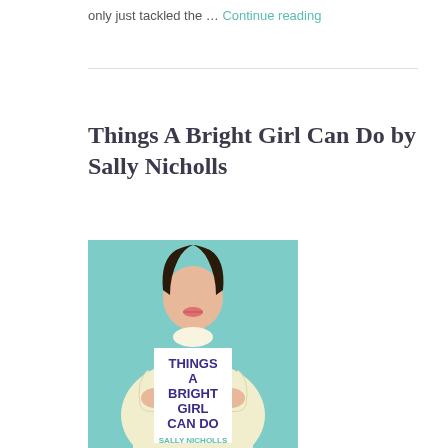only just tackled the … Continue reading
Things A Bright Girl Can Do by Sally Nicholls
[Figure (illustration): Book cover of 'Things A Bright Girl Can Do' by Sally Nicholls. Illustrated cover showing a woman holding a white sign with bold purple text reading 'THINGS A BRIGHT GIRL CAN DO' and teal text at the bottom reading 'SALLY NICHOLLS'. The woman wears a cream/yellow outfit against a teal background.]